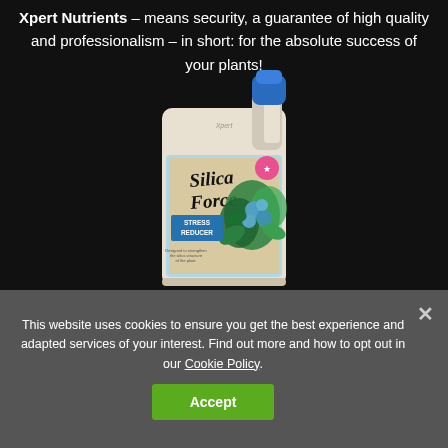Xpert Nutrients – means security, a guarantee of high quality and professionalism – in short: for the absolute success of your plants!
[Figure (photo): A white plastic bottle/jerrycan of 'Silica Force' plant nutrient product with a blue label showing hops and the text 'STRESS REDUCER'. Blue cap on top.]
This website uses cookies to ensure you get the best experience and adapted services of your interest. Find out more and how to opt out in our Cookie Policy.